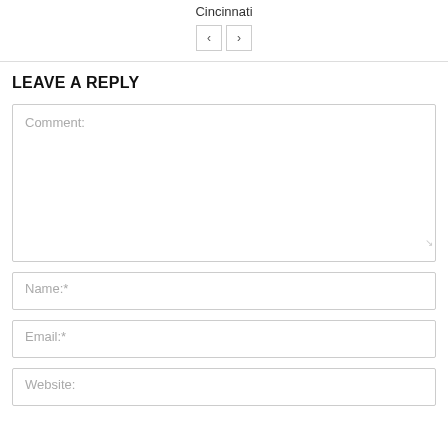Cincinnati
[Figure (other): Navigation buttons with left and right arrows]
LEAVE A REPLY
Comment:
Name:*
Email:*
Website: